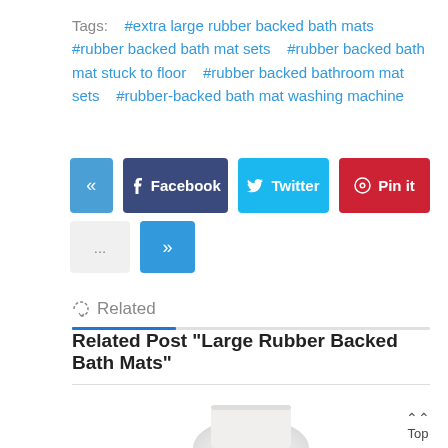Tags:  #extra large rubber backed bath mats  #rubber backed bath mat sets  #rubber backed bath mat stuck to floor  #rubber backed bathroom mat sets  #rubber-backed bath mat washing machine
[Figure (infographic): Social sharing buttons: left-arrow button (blue), Facebook button (dark blue), Twitter button (light blue), Pin it button (red); second row: dots button (light gray), right-arrow button (blue)]
Related
Related Post "Large Rubber Backed Bath Mats"
[Figure (photo): Partial image of a white rubber backed bath mat at the bottom of the page]